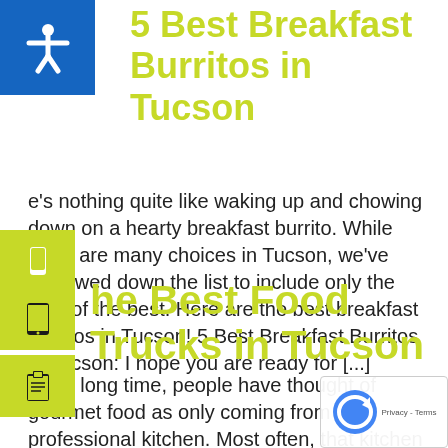5 Best Breakfast Burritos in Tucson
There's nothing quite like waking up and chowing down on a hearty breakfast burrito. While there are many choices in Tucson, we've narrowed down the list to include only the best of the best. Here are the best breakfast burritos in Tucson! 5 Best Breakfast Burritos in Tucson: I hope you are ready for [...]
The Best Food Trucks in Tucson
For a long time, people have thought of gourmet food as only coming from a professional kitchen. Most often, that kitchen is found in the back end of a restaurant and the menu has always had double or even triple digit prices. However, America is learning